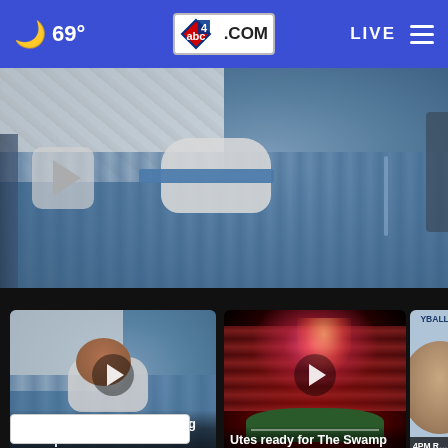69° abc4.com LIVE
[Figure (photo): Hospital scene showing patient lying in bed with neck brace/cervical collar, medical equipment visible, blue hospital gown, video play button overlay]
[Figure (photo): Alta football player in hospital bed with neck brace]
Alta football player recovering from spin... 4 hours ago
[Figure (photo): Stadium with fireworks and crowd for Utes game]
Utes ready for The Swamp 5 hours ago
[Figure (photo): Partially visible card with text YBALL PLA and person's face — 4PM Rc volley]
4PM Rc volley